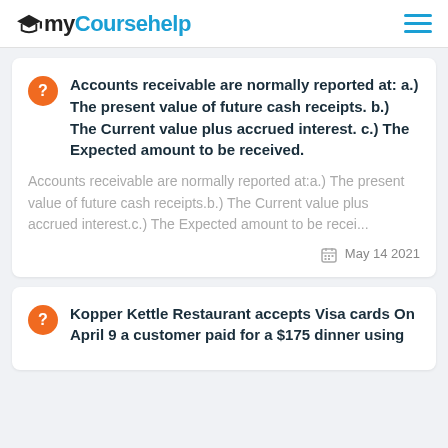myCoursehelp
Accounts receivable are normally reported at: a.) The present value of future cash receipts. b.) The Current value plus accrued interest. c.) The Expected amount to be received.
Accounts receivable are normally reported at:a.) The present value of future cash receipts.b.) The Current value plus accrued interest.c.) The Expected amount to be recei...
May 14 2021
Kopper Kettle Restaurant accepts Visa cards On April 9 a customer paid for a $175 dinner using